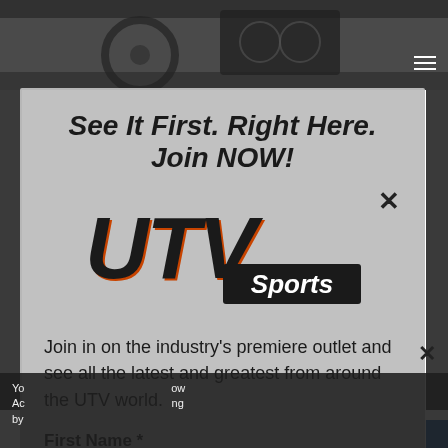[Figure (screenshot): UTV Sports website screenshot with modal dialog overlay showing newsletter signup form. Background shows vehicle dashboard photo. Modal contains title, UTV Sports logo, body text, and First Name form field.]
See It First. Right Here. Join NOW!
[Figure (logo): UTV Sports logo with large bold italic block letters 'UTV' in black with orange shadow effect, and 'Sports' in white text on black banner below]
Join in on the industry's premiere outlet and see all the latest and greatest from around the UTV world.
First Name *
Yo... Ac... by...